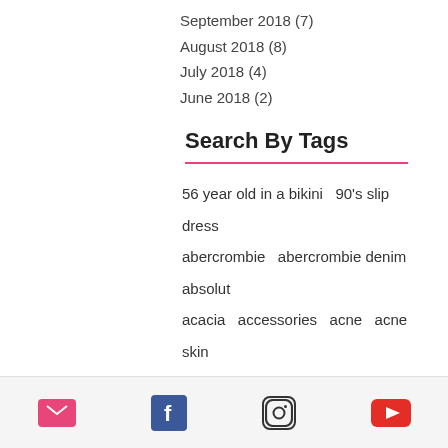September 2018 (7)
August 2018 (8)
July 2018 (4)
June 2018 (2)
Search By Tags
56 year old in a bikini   90's slip dress   abercrombie   abercrombie denim   absolut   acacia   accessories   acne   acne skin   acupuncture   acupuncture for fibroids   adidas alphaskin tie headband   aestehtic   age   age backwards   ageless   agennateur   agent nateur   air and anchor serving board   alentine's day   alessandra ambrosio   almond colored jeans   alopecia
Email | Facebook | Instagram | YouTube